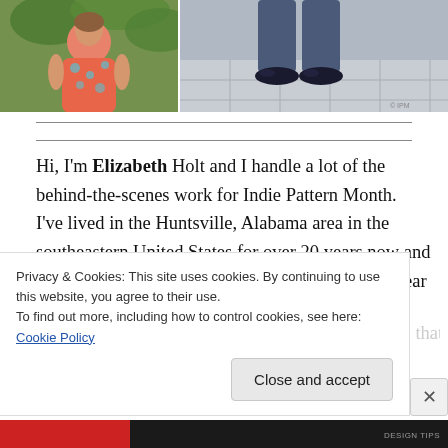[Figure (photo): Two photos side by side: left shows a woman in a floral dress outdoors, right shows lower body of person in jeans and dark shoes on a tiled surface]
Hi, I'm Elizabeth Holt and I handle a lot of the behind-the-scenes work for Indie Pattern Month. I've lived in the Huntsville, Alabama area in the southeastern United States for over 20 years now and it's where my husband and I are raising our four year old
Privacy & Cookies: This site uses cookies. By continuing to use this website, you agree to their use.
To find out more, including how to control cookies, see here: Cookie Policy
Close and accept